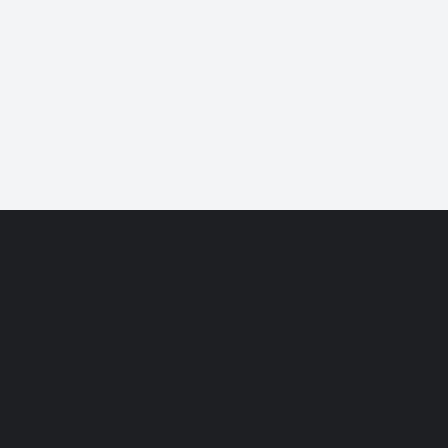Back to top ↑
Government and the individual
Rights, activism and fair treatment at work
Accidents, insurance and compensation